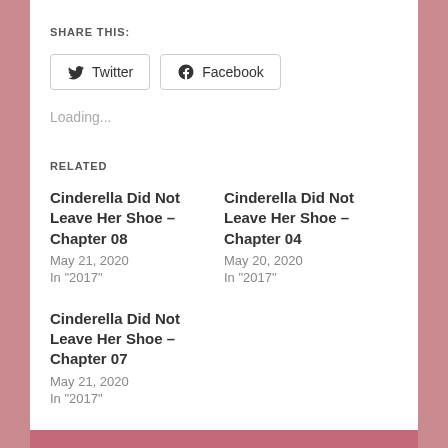SHARE THIS:
Twitter | Facebook (share buttons)
Loading...
RELATED
Cinderella Did Not Leave Her Shoe – Chapter 08
May 21, 2020
In "2017"
Cinderella Did Not Leave Her Shoe – Chapter 04
May 20, 2020
In "2017"
Cinderella Did Not Leave Her Shoe – Chapter 07
May 21, 2020
In "2017"